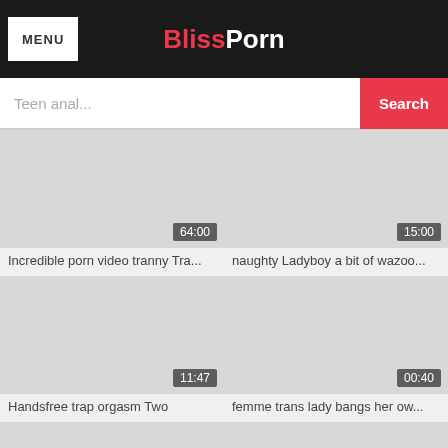MENU | BlissPorn
Teen anal... Search
[Figure (screenshot): Video thumbnail placeholder, duration 64:00]
Incredible porn video tranny Tra...
[Figure (screenshot): Video thumbnail placeholder, duration 15:00]
naughty Ladyboy a bit of wazoo...
[Figure (screenshot): Video thumbnail placeholder, duration 11:47]
Handsfree trap orgasm Two
[Figure (screenshot): Video thumbnail placeholder, duration 00:40]
femme trans lady bangs her ow...
[Figure (screenshot): Video thumbnail placeholder, duration 07:50]
[Figure (screenshot): Video thumbnail placeholder, partial]